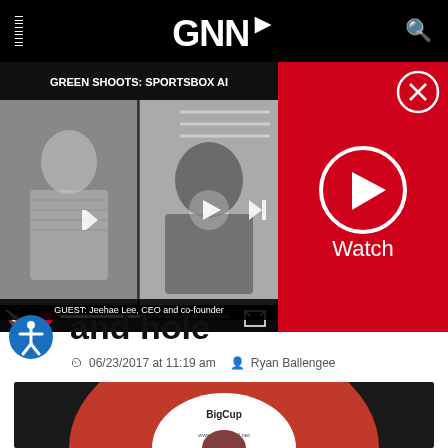GNN
[Figure (screenshot): Video player showing GREEN SHOOTS: SPORTSBOX AI with two video panels. Left panel shows a woman, right panel shows a man. Bottom caption: GUEST: Jeehae Lee, CEO and co-founder. Video controls visible.]
[Figure (other): Red panel with circular play button icon and Watch text, and X close button in top right corner]
and hole
06/23/2017 at 11:19 am  Ryan Ballengee
[Figure (photo): BigCup product - a large red circular disc on dark background with BigCup logo in center and website www.bigcupgolf.net and phone number 860-860-4623]